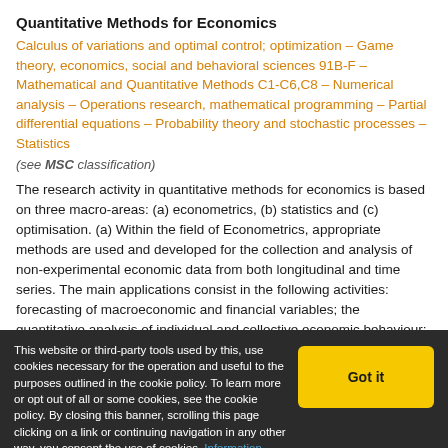Quantitative Methods for Economics
Calculus of variations and optimal control; optimization – Game theory, economics, social and behavioral sciences 91B-F – Mathematical and Quantitative Methods C1-C6,C8 – Numerical analysis – Operations research, mathematical programming – Partial differential equations – Probability theory and stochastic processes – Statistics
(see MSC classification)
The research activity in quantitative methods for economics is based on three macro-areas: (a) econometrics, (b) statistics and (c) optimisation. (a) Within the field of Econometrics, appropriate methods are used and developed for the collection and analysis of non-experimental economic data from both longitudinal and time series. The main applications consist in the following activities: forecasting of macroeconomic and financial variables; the quantitative analysis of individual and collective economic behaviour; the impact assessment of economic and public
This website or third-party tools used by this, use cookies necessary for the operation and useful to the purposes outlined in the cookie policy. To learn more or opt out of all or some cookies, see the cookie policy. By closing this banner, scrolling this page clicking on a link or continuing navigation in any other way, you consent the use of cookies. Information